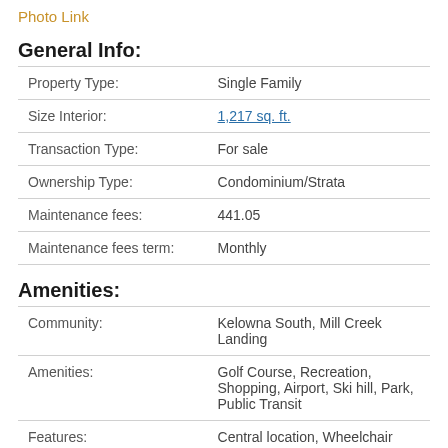Photo Link
General Info:
| Field | Value |
| --- | --- |
| Property Type: | Single Family |
| Size Interior: | 1,217 sq. ft. |
| Transaction Type: | For sale |
| Ownership Type: | Condominium/Strata |
| Maintenance fees: | 441.05 |
| Maintenance fees term: | Monthly |
Amenities:
| Field | Value |
| --- | --- |
| Community: | Kelowna South, Mill Creek Landing |
| Amenities: | Golf Course, Recreation, Shopping, Airport, Ski hill, Park, Public Transit |
| Features: | Central location, Wheelchair |